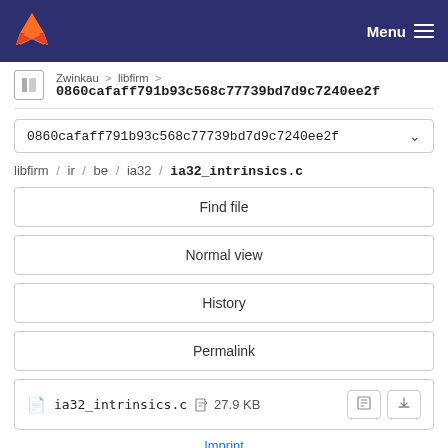Menu
Zwinkau > libfirm > 0860cafaff791b93c568c77739bd7d9c7240ee2f
0860cafaff791b93c568c77739bd7d9c7240ee2f
libfirm / ir / be / ia32 / ia32_intrinsics.c
Find file
Normal view
History
Permalink
ia32_intrinsics.c  27.9 KB
Imprint